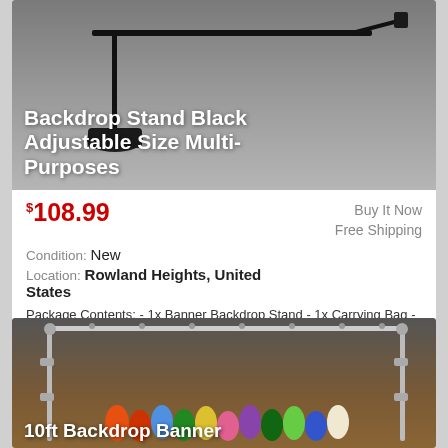[Figure (photo): Photo of a black backdrop stand with carrying bag against gray background, with product title overlay text]
Backdrop Stand Black Adjustable Size Multi-Purposes
$108.99
Buy It Now
Free Shipping
Condition: New
Location: Rowland Heights, United States
Package Contents: - 1x Banner Backdrop Stand - 1x Carrying Bag - 1x Accessories Set - 1x Manual.
[Figure (photo): Photo of a 10ft backdrop banner stand holding a colorful crayons image, with product title overlay text]
10ft Backdrop Banner